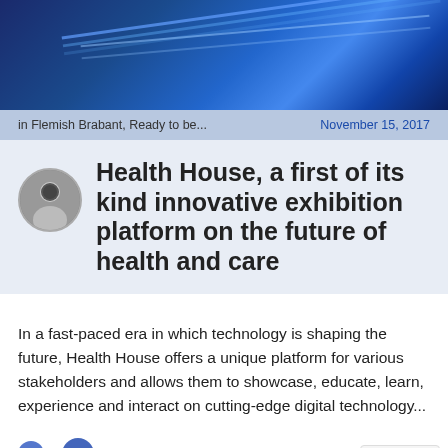[Figure (photo): Blue digital/tech header banner with light streak effects]
in Flemish Brabant,  Ready to be...   November 15, 2017
Health House, a first of its kind innovative exhibition platform on the future of health and care
In a fast-paced era in which technology is shaping the future, Health House offers a unique platform for various stakeholders and allows them to showcase, educate, learn, experience and interact on cutting-edge digital technology...
[Figure (illustration): Two blue circles above social action icons (heart, comment, share) with a reCAPTCHA privacy badge in the bottom right corner]